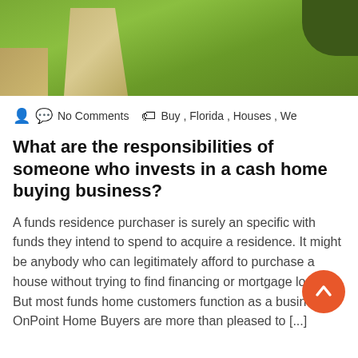[Figure (photo): Aerial or ground-level view of a green grass lawn with a concrete walkway/path on the left side and a dark soil patch on the right.]
No Comments   Buy , Florida , Houses , We
What are the responsibilities of someone who invests in a cash home buying business?
A funds residence purchaser is surely an specific with funds they intend to spend to acquire a residence. It might be anybody who can legitimately afford to purchase a house without trying to find financing or mortgage loan. But most funds home customers function as a business. OnPoint Home Buyers are more than pleased to [...]